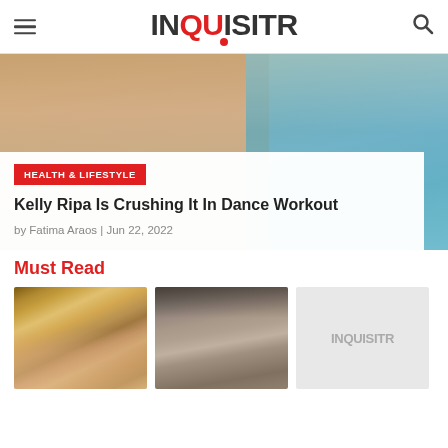INQUISITR
[Figure (photo): Cropped photo of a blonde woman, partially visible face and hair, teal/turquoise top visible]
HEALTH & LIFESTYLE
Kelly Ripa Is Crushing It In Dance Workout
by Fatima Araos | Jun 22, 2022
Must Read
[Figure (photo): Photo of a blonde woman with glamour makeup and dangling earrings]
[Figure (photo): Mugshot-style photo of a dark-haired man]
[Figure (logo): Inquisitr logo placeholder thumbnail]